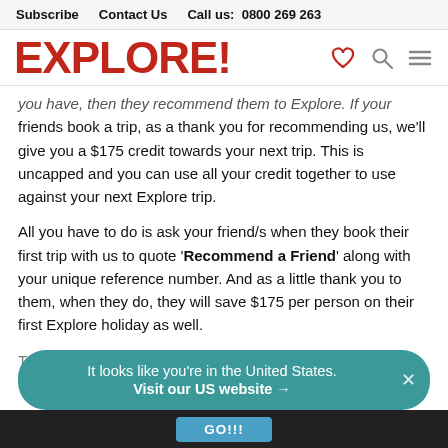Subscribe   Contact Us   Call us: 0800 269 263
EXPLORE!
you have, then they recommend them to Explore. If your friends book a trip, as a thank you for recommending us, we'll give you a $175 credit towards your next trip. This is uncapped and you can use all your credit together to use against your next Explore trip.
All you have to do is ask your friend/s when they book their first trip with us to quote 'Recommend a Friend' along with your unique reference number. And as a little thank you to them, when they do, they will save $175 per person on their first Explore holiday as well.
It looks like you're in the United States.
Visit our US website →
GO!!!